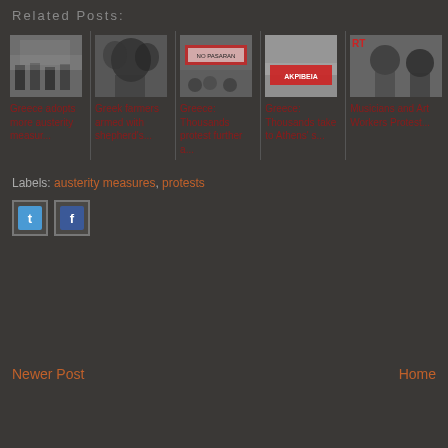Related Posts:
[Figure (photo): Protest scene with police in urban street]
Greece adopts more austerity measur...
[Figure (photo): Farmers armed with shepherd's crooks protest]
Greek farmers armed with shepherd's...
[Figure (photo): Protest with banner reading NO PASARAN]
Greece: Thousands protest further a...
[Figure (photo): Protest in Athens with AKPIBEIA banner]
Greece: Thousands take to Athens' s...
[Figure (photo): Musicians and art workers protest wearing masks]
Musicians and Art Workers Protest...
Labels: austerity measures, protests
[Figure (logo): Twitter share button]
[Figure (logo): Facebook share button]
Newer Post
Home